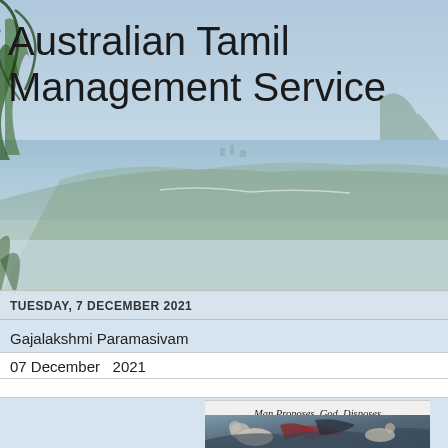[Figure (photo): Coastal landscape background photo showing cliffs, sea, and vegetation, used as website header background image]
Australian Tamil Management Service
TUESDAY, 7 DECEMBER 2021
Gajalakshmi Paramasivam
07 December   2021
Man Proposes, God  Disposes
[Figure (illustration): Painting titled 'Man Proposes, God Disposes' showing polar bears on ice, partially visible]